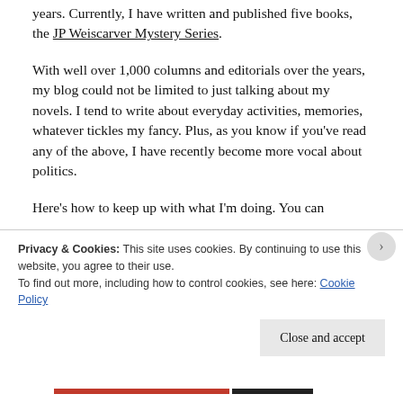years. Currently, I have written and published five books, the JP Weiscarver Mystery Series.
With well over 1,000 columns and editorials over the years, my blog could not be limited to just talking about my novels. I tend to write about everyday activities, memories, whatever tickles my fancy. Plus, as you know if you’ve read any of the above, I have recently become more vocal about politics.
Here’s how to keep up with what I’m doing. You can
Privacy & Cookies: This site uses cookies. By continuing to use this website, you agree to their use.
To find out more, including how to control cookies, see here: Cookie Policy
Close and accept